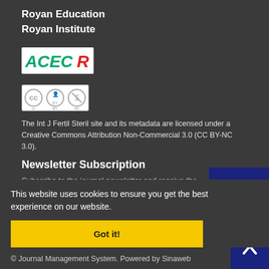Royan Education
Royan Institute
[Figure (logo): ACECR logo with red and green text]
[Figure (logo): Creative Commons BY-NC license badge]
The Int J Fertil Steril site and its metadata are licensed under a Creative Commons Attribution Non-Commercial 3.0 (CC BY-NC 3.0).
Newsletter Subscription
Subscribe to the journal newsletter and receive the
This website uses cookies to ensure you get the best experience on our website.
Got it!
Subscribe
© Journal Management System. Powered by Sinaweb